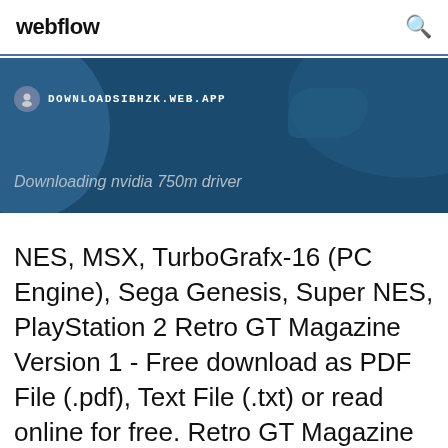webflow
[Figure (screenshot): Blue banner with a world map background, showing the URL DOWNLOADSIBHZK.WEB.APP and the text 'Downloading nvidia 750m driver']
NES, MSX, TurboGrafx-16 (PC Engine), Sega Genesis, Super NES, PlayStation 2 Retro GT Magazine Version 1 - Free download as PDF File (.pdf), Text File (.txt) or read online for free. Retro GT Magazine Version 1